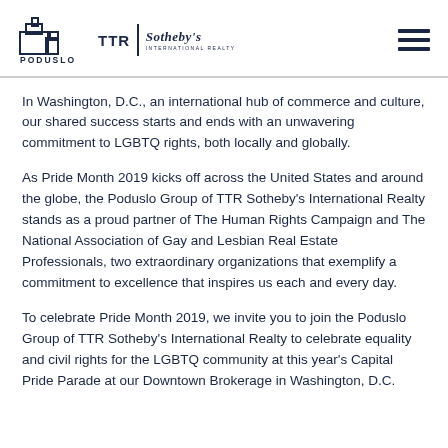PODUSLO GROUP | TTR Sotheby's International Realty
In Washington, D.C., an international hub of commerce and culture, our shared success starts and ends with an unwavering commitment to LGBTQ rights, both locally and globally.
As Pride Month 2019 kicks off across the United States and around the globe, the Poduslo Group of TTR Sotheby's International Realty stands as a proud partner of The Human Rights Campaign and The National Association of Gay and Lesbian Real Estate Professionals, two extraordinary organizations that exemplify a commitment to excellence that inspires us each and every day.
To celebrate Pride Month 2019, we invite you to join the Poduslo Group of TTR Sotheby's International Realty to celebrate equality and civil rights for the LGBTQ community at this year's Capital Pride Parade at our Downtown Brokerage in Washington, D.C.